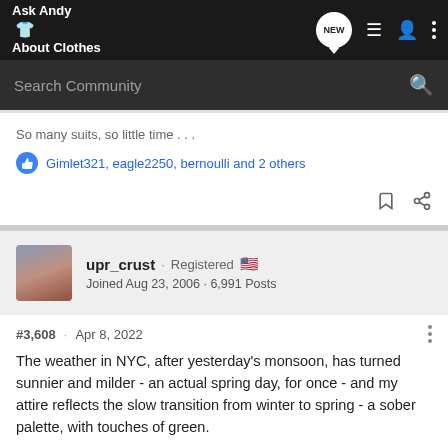Ask Andy About Clothes
So many suits, so little time . . .
Gimlet321, eagle2250, bernoulli and 2 others
upr_crust · Registered
Joined Aug 23, 2006 · 6,991 Posts
#3,608 · Apr 8, 2022
The weather in NYC, after yesterday's monsoon, has turned sunnier and milder - an actual spring day, for once - and my attire reflects the slow transition from winter to spring - a sober palette, with touches of green.